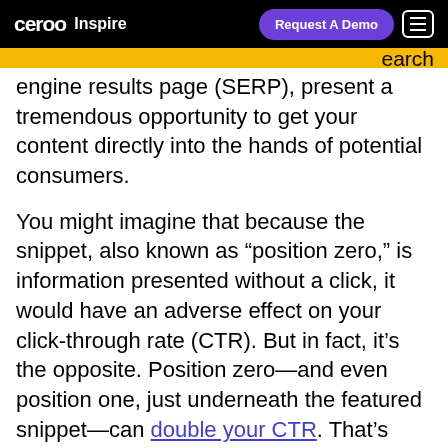ceroo Inspire | Request A Demo
search engine results page (SERP), present a tremendous opportunity to get your content directly into the hands of potential consumers.
You might imagine that because the snippet, also known as “position zero,” is information presented without a click, it would have an adverse effect on your click-through rate (CTR). But in fact, it’s the opposite. Position zero—and even position one, just underneath the featured snippet—can double your CTR. That’s why over half of all marketers are currently trying to get their content to rank at the top of SERPs.
As you get your content snippet-ready, the most important thing to keep in mind is that the